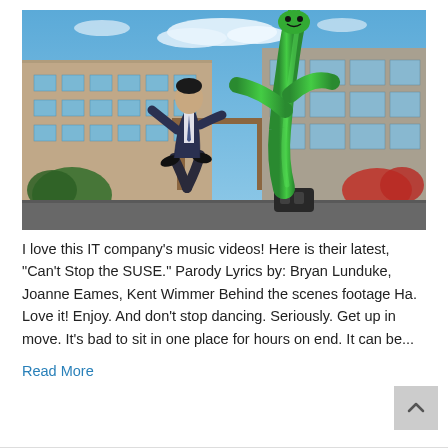[Figure (photo): A man in a suit dancing outdoors in front of a modern office building, next to a large green inflatable tube man (wacky waving arm flailing inflatable tube man). Blue sky with clouds in background.]
I love this IT company's music videos! Here is their latest, "Can't Stop the SUSE." Parody Lyrics by: Bryan Lunduke, Joanne Eames, Kent Wimmer Behind the scenes footage Ha. Love it! Enjoy. And don't stop dancing. Seriously. Get up in move. It's bad to sit in one place for hours on end. It can be...
Read More